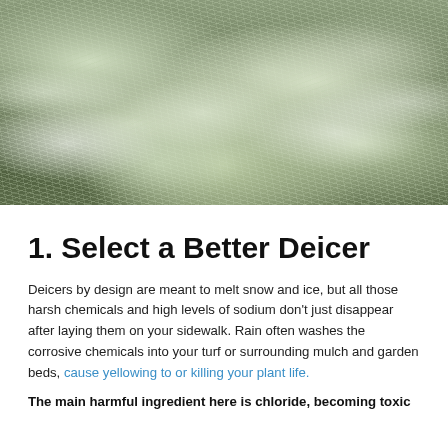[Figure (photo): Close-up photograph of frost-covered grass blades, showing white crystalline frost coating green grass in a lawn or garden setting.]
1. Select a Better Deicer
Deicers by design are meant to melt snow and ice, but all those harsh chemicals and high levels of sodium don't just disappear after laying them on your sidewalk. Rain often washes the corrosive chemicals into your turf or surrounding mulch and garden beds, cause yellowing to or killing your plant life.
The main harmful ingredient here is chloride, becoming toxic